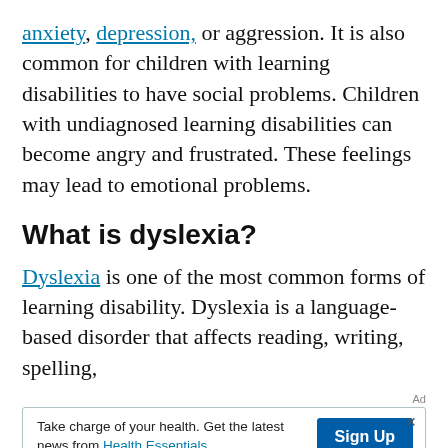anxiety, depression, or aggression. It is also common for children with learning disabilities to have social problems. Children with undiagnosed learning disabilities can become angry and frustrated. These feelings may lead to emotional problems.
What is dyslexia?
Dyslexia is one of the most common forms of learning disability. Dyslexia is a language-based disorder that affects reading, writing, spelling,
[Figure (other): Advertisement banner: 'Take charge of your health. Get the latest news from Health Essentials' with a 'Sign Up' button]